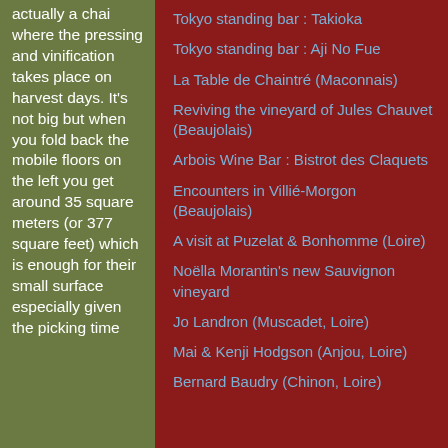actually a chai where the pressing and vinification takes place on harvest days. It's not big but when you fold back the mobile floors on the left you get around 35 square meters (or 377 square feet) which is enough for their small surface especially given the picking time
Tokyo standing bar : Takioka
Tokyo standing bar : Aji No Fue
La Table de Chaintré (Maconnais)
Reviving the vineyard of Jules Chauvet (Beaujolais)
Arbois Wine Bar : Bistrot des Claquets
Encounters in Villié-Morgon (Beaujolais)
A visit at Puzelat & Bonhomme (Loire)
Noëlla Morantin's new Sauvignon vineyard
Jo Landron (Muscadet, Loire)
Mai & Kenji Hodgson (Anjou, Loire)
Bernard Baudry (Chinon, Loire)